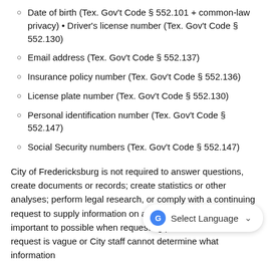Date of birth (Tex. Gov't Code § 552.101 + common-law privacy) • Driver's license number (Tex. Gov't Code § 552.130)
Email address (Tex. Gov't Code § 552.137)
Insurance policy number (Tex. Gov't Code § 552.136)
License plate number (Tex. Gov't Code § 552.130)
Personal identification number (Tex. Gov't Code § 552.147)
Social Security numbers (Tex. Gov't Code § 552.147)
City of Fredericksburg is not required to answer questions, create documents or records; create statistics or other analyses; perform legal research, or comply with a continuing request to supply information on a periodic basis. It is important to possible when requesting public records. If the request is vague or City staff cannot determine what information